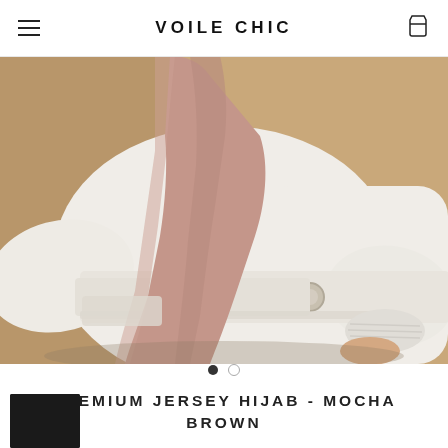VOILE CHIC
[Figure (photo): Fashion photo of a person wearing a cream/ivory belted coat and a dusty pink/mauve hijab draped over the shoulder, against a warm beige background]
PREMIUM JERSEY HIJAB - MOCHA BROWN